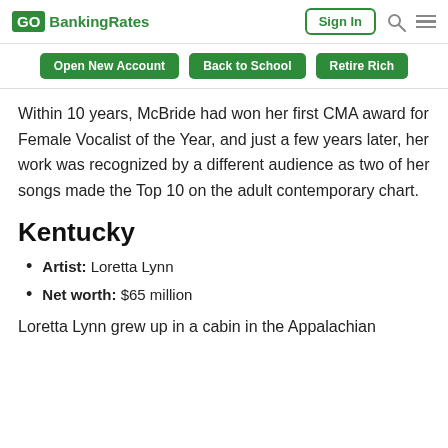GOBankingRates | Sign In | Search | Menu
Open New Account | Back to School | Retire Rich
Within 10 years, McBride had won her first CMA award for Female Vocalist of the Year, and just a few years later, her work was recognized by a different audience as two of her songs made the Top 10 on the adult contemporary chart.
Kentucky
Artist: Loretta Lynn
Net worth: $65 million
Loretta Lynn grew up in a cabin in the Appalachian